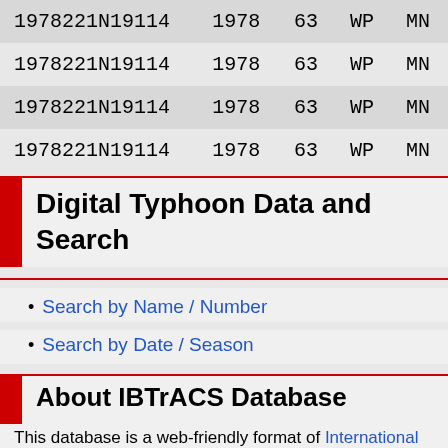| ID | Year | Num | Type | Cat |
| --- | --- | --- | --- | --- |
| 1978221N19114 | 1978 | 63 | WP | MN |
| 1978221N19114 | 1978 | 63 | WP | MN |
| 1978221N19114 | 1978 | 63 | WP | MN |
| 1978221N19114 | 1978 | 63 | WP | MN |
Digital Typhoon Data and Search
Search by Name / Number
Search by Date / Season
About IBTrACS Database
This database is a web-friendly format of International